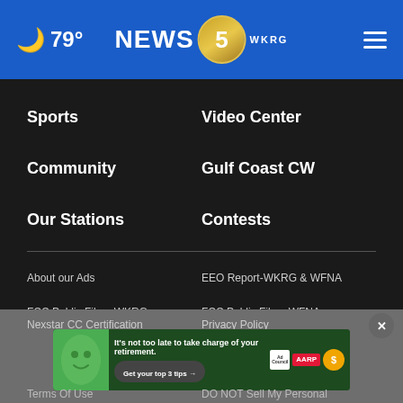🌙 79° NEWS 5 WKRG ☰
Sports
Video Center
Community
Gulf Coast CW
Our Stations
Contests
About our Ads
EEO Report-WKRG & WFNA
FCC Public File – WKRG
FCC Public File – WFNA
Nexstar CC Certification
Privacy Policy
Terms Of Use
DO NOT Sell My Personal
[Figure (screenshot): AARP advertisement banner with green mascot character, text 'It's not too late to take charge of your retirement. Get your top 3 tips →', Ad Council logo, AARP logo, and sun icon]